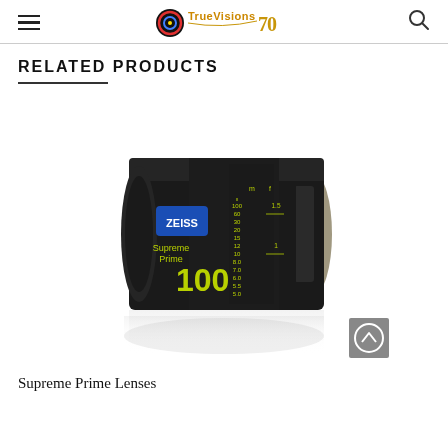TrueVisions 70 [logo/navigation header]
RELATED PRODUCTS
[Figure (photo): Zeiss Supreme Prime 100mm cinema lens, matte black barrel with lime green focus markings, blue Zeiss logo badge, metallic rear mount, shown at a 3/4 angle with reflection below on white background]
Supreme Prime Lenses